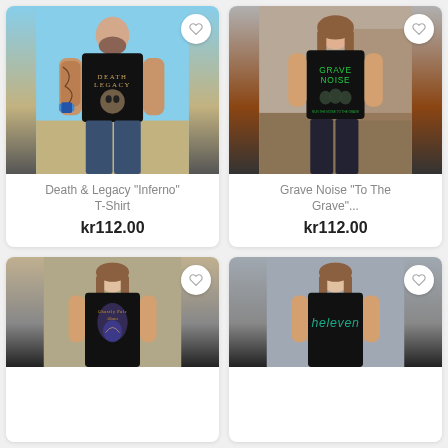[Figure (photo): Man wearing Death & Legacy Inferno black t-shirt with skull graphic, outdoors with blue sky and field background]
Death & Legacy "Inferno" T-Shirt
kr112.00
[Figure (photo): Woman wearing Grave Noise To The Grave black t-shirt with green lettering and skull graphics, outdoors]
Grave Noise "To The Grave"...
kr112.00
[Figure (photo): Woman wearing dark fantasy graphic black t-shirt with illustrated art, outdoors]
[Figure (photo): Woman wearing Heleven black t-shirt with teal/green heleven text logo, outdoors]